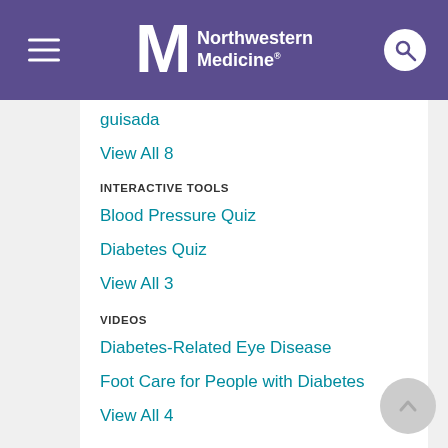Northwestern Medicine
guisada
View All 8
INTERACTIVE TOOLS
Blood Pressure Quiz
Diabetes Quiz
View All 3
VIDEOS
Diabetes-Related Eye Disease
Foot Care for People with Diabetes
View All 4